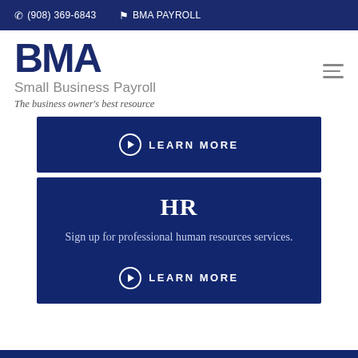(908) 369-6843   BMA PAYROLL
[Figure (logo): BMA Small Business Payroll logo with tagline 'The business owner's best resource']
LEARN MORE
HR
Sign up for professional human resources services.
LEARN MORE